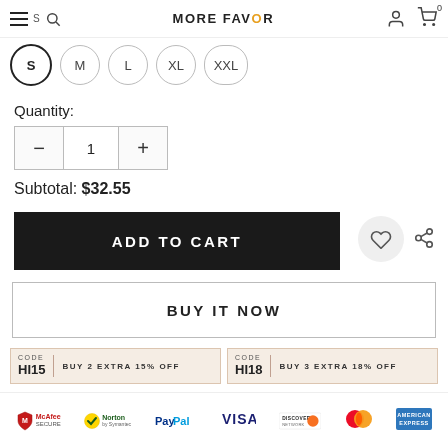MORE FAVOR — navigation header with logo, search, user, and cart icons
Size options: S (selected), M, L, XL, XXL
Quantity:
– 1 +
Subtotal: $32.55
ADD TO CART
BUY IT NOW
CODE HI15 | BUY 2 EXTRA 15% OFF
CODE HI18 | BUY 3 EXTRA 18% OFF
[Figure (logo): Payment method logos: McAfee Secure, Norton by Symantec, PayPal, VISA, Discover Network, Mastercard, American Express]